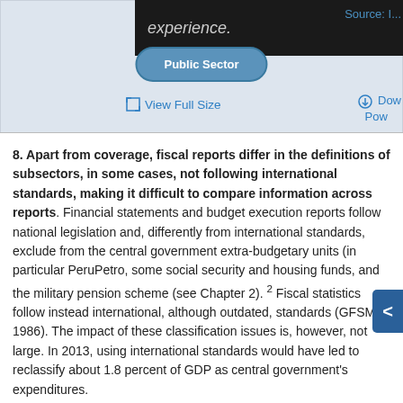[Figure (illustration): Top portion of a diagram showing 'Public Sector' label on a circular/elliptical shape with dark overlay bar showing 'experience.' text and 'Source: I...' text on the right]
View Full Size
Dow... Pow...
8. Apart from coverage, fiscal reports differ in the definitions of subsectors, in some cases, not following international standards, making it difficult to compare information across reports. Financial statements and budget execution reports follow national legislation and, differently from international standards, exclude from the central government extra-budgetary units (in particular PeruPetro, some social security and housing funds, and the military pension scheme (see Chapter 2). 2 Fiscal statistics follow instead international, although outdated, standards (GFSM 1986). The impact of these classification issues is, however, not large. In 2013, using international standards would have led to reclassify about 1.8 percent of GDP as central government's expenditures.